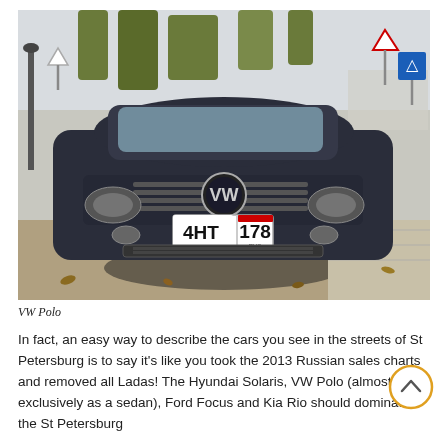[Figure (photo): A dark blue VW Polo sedan parked on a street in St Petersburg, Russia. The car has a Russian license plate reading '4HT 178 RUS'. Road signs and trees are visible in the background.]
VW Polo
In fact, an easy way to describe the cars you see in the streets of St Petersburg is to say it's like you took the 2013 Russian sales charts and removed all Ladas! The Hyundai Solaris, VW Polo (almost exclusively as a sedan), Ford Focus and Kia Rio should dominate the St Petersburg